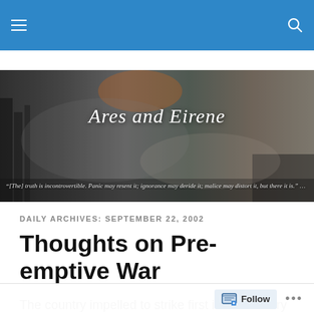[Figure (screenshot): Blue navigation bar with hamburger menu icon on left and search icon on right]
[Figure (photo): Dark atmospheric banner image with cursive text 'Ares and Eirene' and a Churchill quote below]
DAILY ARCHIVES: SEPTEMBER 22, 2002
Thoughts on Pre-emptive War
The country impelled to strike first is the country where fear has come to control thought and action. or, it has ambitions of aggrandizement of one sort or another